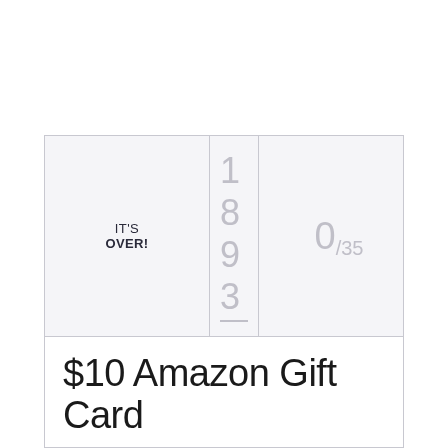| IT'S OVER! | 1 8 9 3 | 0/35 |
| --- | --- | --- |
| $10 Amazon Gift Card |  |  |